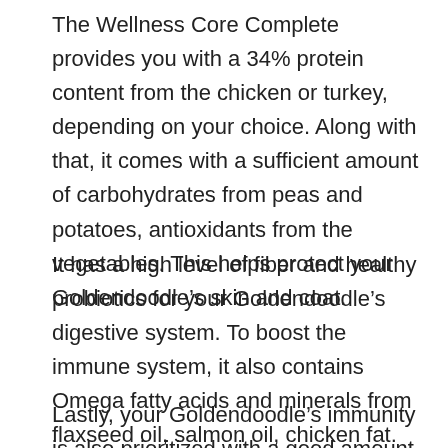The Wellness Core Complete provides you with a 34% protein content from the chicken or turkey, depending on your choice. Along with that, it comes with a sufficient amount of carbohydrates from peas and potatoes, antioxidants from the vegetables. This helps protect your Goldendoodle’s skin and coat.
It has a high level of fiber and healthy probiotics for your Goldendoodle’s digestive system. To boost the immune system, it also contains Omega fatty acids and minerals from flaxseed oil, salmon oil, chicken fat.
Lastly, your Goldendoodle’s immunity is also prioritized with a good amount of antioxidants from fruits and vegetables.